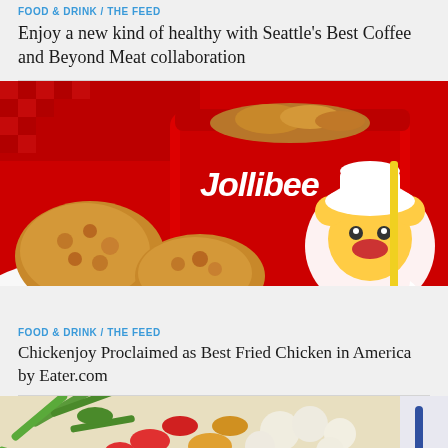FOOD & DRINK / THE FEED
Enjoy a new kind of healthy with Seattle's Best Coffee and Beyond Meat collaboration
[Figure (photo): Jollibee red bucket with fried chicken pieces in front, red checkered tablecloth background, Jollibee mascot on bucket]
FOOD & DRINK / THE FEED
Chickenjoy Proclaimed as Best Fried Chicken in America by Eater.com
[Figure (photo): Close-up of mixed vegetable dish with green beans, cauliflower, red peppers, and other vegetables]